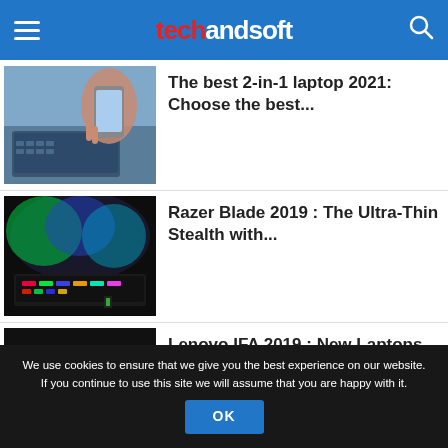techandsoft
[Figure (photo): Person using a laptop and holding a smartphone, viewed from above at a desk]
The best 2-in-1 laptop 2021: Choose the best...
[Figure (photo): Razer Blade laptop with RGB keyboard lighting and colorful screen showing green/blue hues in the dark]
Razer Blade 2019 : The Ultra-Thin Stealth with...
[Figure (logo): Lenovo 2019 logo on dark laptop background]
Lenovo IFA 2019 : New Laptops and Monitors...
We use cookies to ensure that we give you the best experience on our website. If you continue to use this site we will assume that you are happy with it.